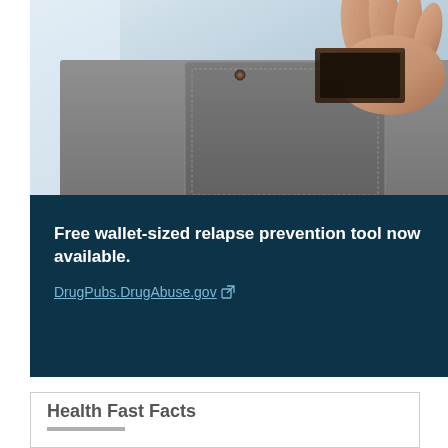[Figure (photo): Close-up photo of a hand placing or holding a wallet in a back jeans pocket, set against a light blue-grey background.]
Free wallet-sized relapse prevention tool now available.
DrugPubs.DrugAbuse.gov
Health Fast Facts